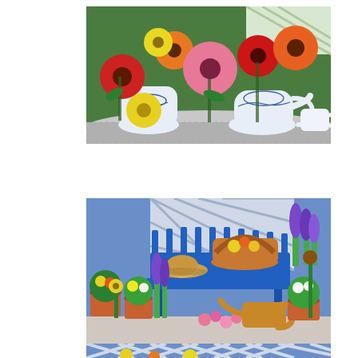[Figure (photo): Close-up photograph of colorful gerbera daisies and lilies (red, pink, orange, yellow) arranged in blue-and-white china vases on a white metal garden table, with a green hedge background.]
[Figure (photo): Garden scene with a blue wooden bench against a white lattice backdrop, holding a straw hat and a wicker basket with flowers. Surrounding the bench are terracotta pots with yellow, white, and pink flowers, a yellow watering can, and purple lavender, with sunflowers on the right.]
[Figure (photo): Partially visible garden photo at the bottom of the page, showing a white lattice/trellis pattern and colorful flowers, cropped.]